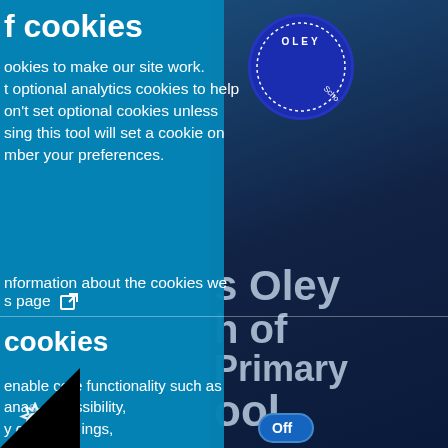f cookies
ookies to make our site work. t optional analytics cookies to help on't set optional cookies unless sing this tool will set a cookie on mber your preferences.
nformation about the cookies we s page [external link icon]
cookies
enable core functionality such as ana...ccessibility, y c...ings, hov...
[Figure (screenshot): Dark blue school background with circular school logo (Oley School) and large overlaid text reading 's Oley h of Primary ool']
We use cookies to provide you with the best experience on our website. Read our Privacy Policy to find out more.
[Figure (other): Toggle switch showing 'Off' state in blue pill shape]
[Figure (other): Cookie/settings gear icon at bottom left]